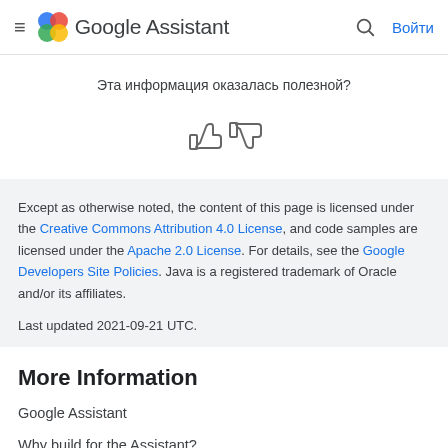Google Assistant — Войти
Эта информация оказалась полезной?
[Figure (illustration): Thumbs up and thumbs down icons for user feedback]
Except as otherwise noted, the content of this page is licensed under the Creative Commons Attribution 4.0 License, and code samples are licensed under the Apache 2.0 License. For details, see the Google Developers Site Policies. Java is a registered trademark of Oracle and/or its affiliates.
Last updated 2021-09-21 UTC.
More Information
Google Assistant
Why build for the Assistant?